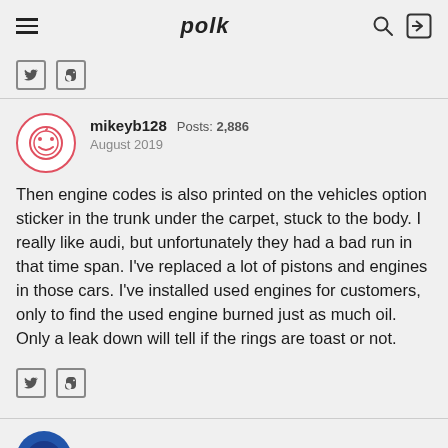polk
mikeyb128  Posts: 2,886  August 2019
Then engine codes is also printed on the vehicles option sticker in the trunk under the carpet, stuck to the body. I really like audi, but unfortunately they had a bad run in that time span. I've replaced a lot of pistons and engines in those cars. I've installed used engines for customers, only to find the used engine burned just as much oil. Only a leak down will tell if the rings are toast or not.
scubalab  Posts: 3,053